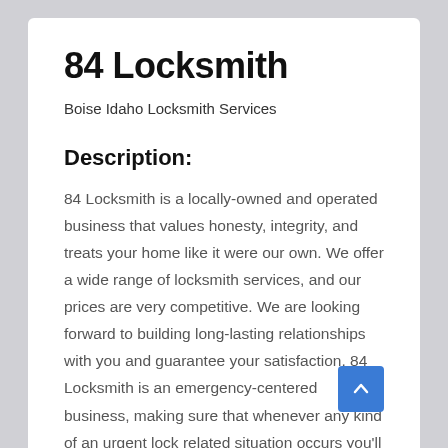84 Locksmith
Boise Idaho Locksmith Services
Description:
84 Locksmith is a locally-owned and operated business that values honesty, integrity, and treats your home like it were our own. We offer a wide range of locksmith services, and our prices are very competitive. We are looking forward to building long-lasting relationships with you and guarantee your satisfaction. 84 Locksmith is an emergency-centered business, making sure that whenever any kind of an urgent lock related situation occurs you'll get our timely help! All services performed on-the-spot in the